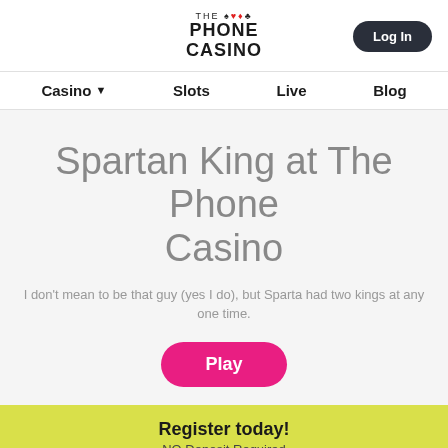THE PHONE CASINO | Log In
Casino  Slots  Live  Blog
Spartan King at The Phone Casino
I don't mean to be that guy (yes I do), but Sparta had two kings at any one time.
Play
Register today!
NO Deposit Required
Login  Register